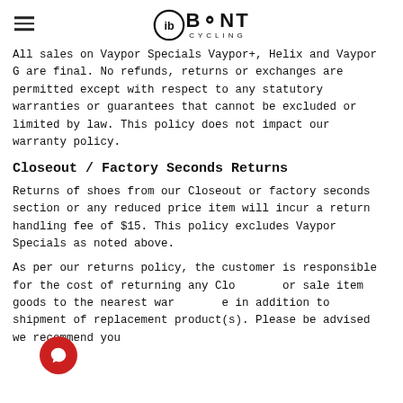Bont Cycling
All sales on Vaypor Specials Vaypor+, Helix and Vaypor G are final. No refunds, returns or exchanges are permitted except with respect to any statutory warranties or guarantees that cannot be excluded or limited by law. This policy does not impact our warranty policy.
Closeout / Factory Seconds Returns
Returns of shoes from our Closeout or factory seconds section or any reduced price item will incur a return handling fee of $15. This policy excludes Vaypor Specials as noted above.
As per our returns policy, the customer is responsible for the cost of returning any Closeout or sale item goods to the nearest warehouse in addition to shipment of replacement product(s). Please be advised we recommend you